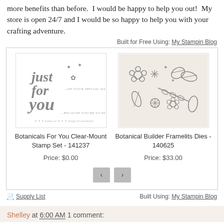more benefits than before.  I would be happy to help you out!  My store is open 24/7 and I would be so happy to help you with your crafting adventure.
Built for Free Using: My Stampin Blog
[Figure (illustration): Botanicals For You Clear-Mount Stamp Set product image showing 'just for you' handwritten script stamp design]
Botanicals For You Clear-Mount Stamp Set - 141237
Price: $0.00
[Figure (illustration): Botanical Builder Framelits Dies product image showing botanical die cut shapes including flowers and leaves on tan background]
Botanical Builder Framelits Dies - 140625
Price: $33.00
Supply List   Built Using: My Stampin Blog
Shelley at 6:00 AM    1 comment: